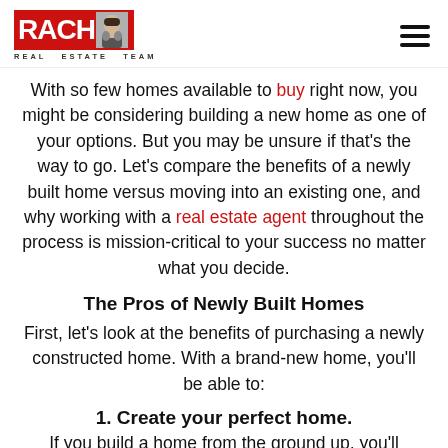RACHM REAL ESTATE TEAM
With so few homes available to buy right now, you might be considering building a new home as one of your options. But you may be unsure if that's the way to go. Let's compare the benefits of a newly built home versus moving into an existing one, and why working with a real estate agent throughout the process is mission-critical to your success no matter what you decide.
The Pros of Newly Built Homes
First, let's look at the benefits of purchasing a newly constructed home. With a brand-new home, you'll be able to:
1. Create your perfect home.
If you build a home from the ground up, you'll